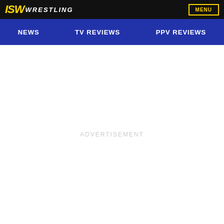ISW WRESTLING | MENU
NEWS | TV REVIEWS | PPV REVIEWS
ADVERTISEMENT